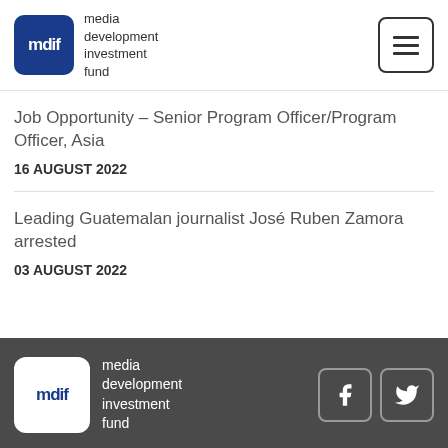mdif media development investment fund
Job Opportunity – Senior Program Officer/Program Officer, Asia
16 AUGUST 2022
Leading Guatemalan journalist José Ruben Zamora arrested
03 AUGUST 2022
media development investment fund